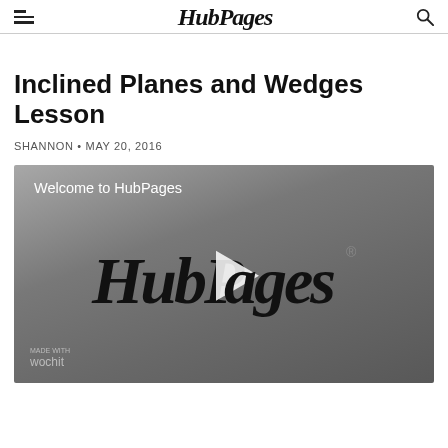HubPages
Inclined Planes and Wedges Lesson
SHANNON • MAY 20, 2016
[Figure (screenshot): Video player showing HubPages logo with play button and text 'Welcome to HubPages'. Wochit branding in bottom left corner.]